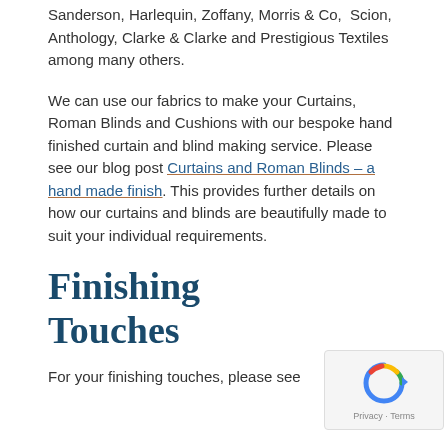Sanderson, Harlequin, Zoffany, Morris & Co,  Scion, Anthology, Clarke & Clarke and Prestigious Textiles among many others.
We can use our fabrics to make your Curtains, Roman Blinds and Cushions with our bespoke hand finished curtain and blind making service. Please see our blog post Curtains and Roman Blinds – a hand made finish. This provides further details on how our curtains and blinds are beautifully made to suit your individual requirements.
Finishing Touches
For your finishing touches, please see